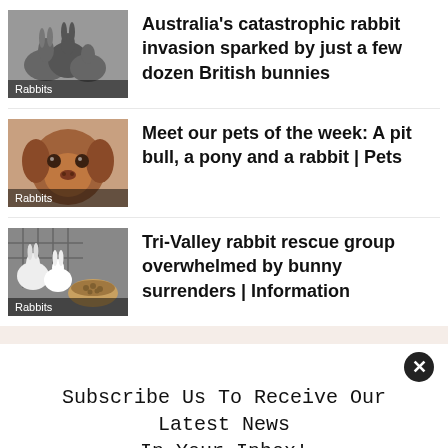Australia's catastrophic rabbit invasion sparked by just a few dozen British bunnies
Meet our pets of the week: A pit bull, a pony and a rabbit | Pets
Tri-Valley rabbit rescue group overwhelmed by bunny surrenders | Information
Subscribe Us To Receive Our Latest News In Your Inbox!
Email Address *